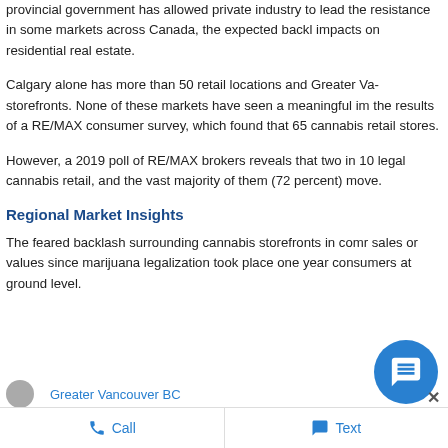provincial government has allowed private industry to lead the resistance in some markets across Canada, the expected backlash impacts on residential real estate.
Calgary alone has more than 50 retail locations and Greater Vancouver storefronts. None of these markets have seen a meaningful impact, per the results of a RE/MAX consumer survey, which found that 65% cannabis retail stores.
However, a 2019 poll of RE/MAX brokers reveals that two in 10 legal cannabis retail, and the vast majority of them (72 percent) move.
Regional Market Insights
The feared backlash surrounding cannabis storefronts in communities sales or values since marijuana legalization took place one year consumers at ground level.
[Figure (other): Chat bubble widget button (blue circle with message icon) and close X button overlaid on page bottom area. Footer bar with Call and Text buttons.]